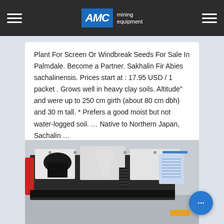AMC mining equipment
Plant For Screen Or Windbreak Seeds For Sale In Palmdale. Become a Partner. Sakhalin Fir Abies sachalinensis. Prices start at : 17.95 USD / 1 packet . Grows well in heavy clay soils. Altitude" and were up to 250 cm girth (about 80 cm dbh) and 30 m tall. * Prefers a good moist but not water-logged soil. … Native to Northern Japan, Sachalin …
[Figure (photo): Industrial mining/crushing equipment — large black and white mechanical machines on a factory floor with a red cylinder visible on the left and a document attached to the right side of the machine.]